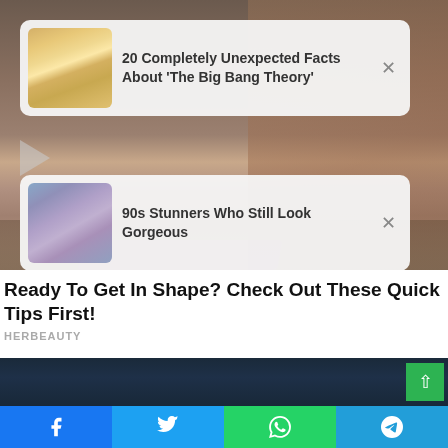[Figure (screenshot): Sponsored content ad card with thumbnail of blonde woman from The Big Bang Theory - title: 20 Completely Unexpected Facts About 'The Big Bang Theory']
[Figure (screenshot): Sponsored content ad card with thumbnail of woman with curly hair in 90s style - title: 90s Stunners Who Still Look Gorgeous]
Ready To Get In Shape? Check Out These Quick Tips First!
HERBEAUTY
[Figure (photo): Dark blue ocean/sky background image]
[Figure (screenshot): Social sharing bar with Facebook, Twitter, WhatsApp, and Telegram buttons at the bottom]